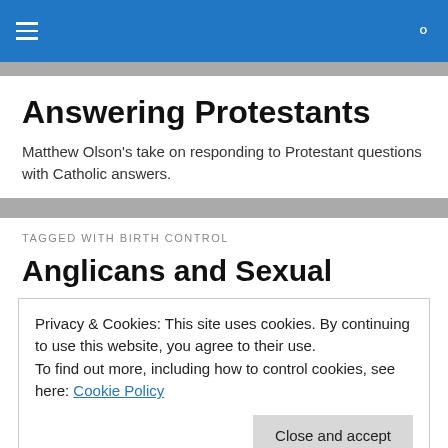Answering Protestants
Answering Protestants
Matthew Olson's take on responding to Protestant questions with Catholic answers.
TAGGED WITH BIRTH CONTROL
Anglicans and Sexual
Privacy & Cookies: This site uses cookies. By continuing to use this website, you agree to their use.
To find out more, including how to control cookies, see here: Cookie Policy
marriage, which is primarily what makes homosexual